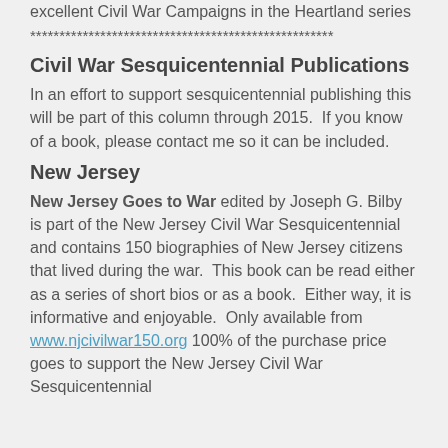excellent Civil War Campaigns in the Heartland series
****************************************************
Civil War Sesquicentennial Publications
In an effort to support sesquicentennial publishing this will be part of this column through 2015.  If you know of a book, please contact me so it can be included.
New Jersey
New Jersey Goes to War edited by Joseph G. Bilby is part of the New Jersey Civil War Sesquicentennial and contains 150 biographies of New Jersey citizens that lived during the war.  This book can be read either as a series of short bios or as a book.  Either way, it is informative and enjoyable.  Only available from www.njcivilwar150.org 100% of the purchase price goes to support the New Jersey Civil War Sesquicentennial